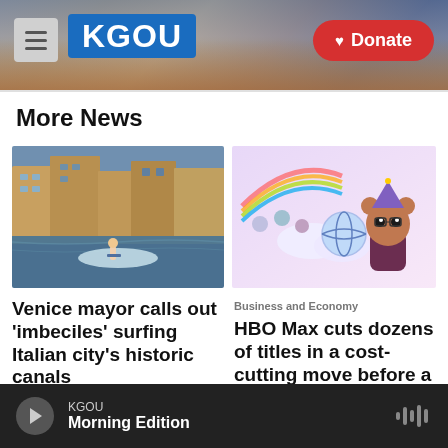KGOU — Donate
More News
[Figure (photo): Person surfing on a canal in Venice, Italy, with historic Italian buildings in the background]
[Figure (illustration): Animated illustration of a cartoon character wearing a purple party hat holding a globe, with a rainbow and small cartoon characters in the background]
Venice mayor calls out 'imbeciles' surfing Italian city's historic canals
Business and Economy
HBO Max cuts dozens of titles in a cost-cutting move before a
KGOU — Morning Edition